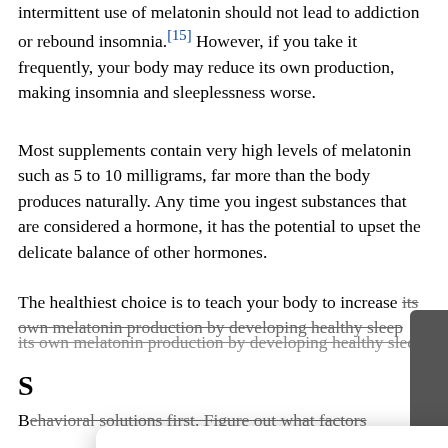intermittent use of melatonin should not lead to addiction or rebound insomnia.[15] However, if you take it frequently, your body may reduce its own production, making insomnia and sleeplessness worse.
Most supplements contain very high levels of melatonin such as 5 to 10 milligrams, far more than the body produces naturally. Any time you ingest substances that are considered a hormone, it has the potential to upset the delicate balance of other hormones.
The healthiest choice is to teach your body to increase its own melatonin production by developing healthy sleep ha...
S...
B... behavioral solutions first. Figure out what factors...
[Figure (screenshot): Cookie consent dialog overlay with title 'This website uses cookies', body text 'We use cookies to optimize our site for you.', an OK button (green), and an Edit Consent button (gray).]